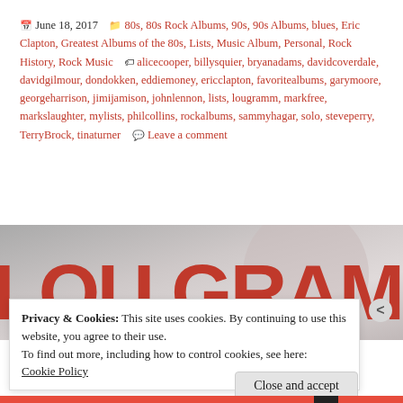June 18, 2017   80s, 80s Rock Albums, 90s, 90s Albums, blues, Eric Clapton, Greatest Albums of the 80s, Lists, Music Album, Personal, Rock History, Rock Music   alicecooper, billysquier, bryanadams, davidcoverdale, davidgilmour, dondokken, eddiemoney, ericclapton, favoritealbums, garymoore, georgeharrison, jimijamison, johnlennon, lists, lougramm, markfree, markslaughter, mylists, philcollins, rockalbums, sammyhagar, solo, steveperry, TerryBrock, tinaturner   Leave a comment
[Figure (photo): Album cover for Lou Gramm 'Ready or Not' showing large red text LOU GRAMM on grey background with subtitle READY OR NOT in small spaced letters]
Privacy & Cookies: This site uses cookies. By continuing to use this website, you agree to their use.
To find out more, including how to control cookies, see here: Cookie Policy
Close and accept